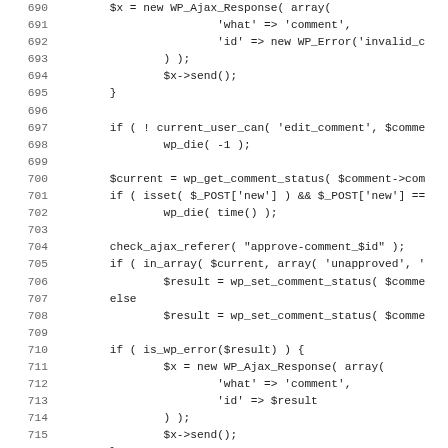[Figure (screenshot): Source code listing showing PHP/WordPress code lines 690-722, with line numbers on the left and code on the right in monospace font.]